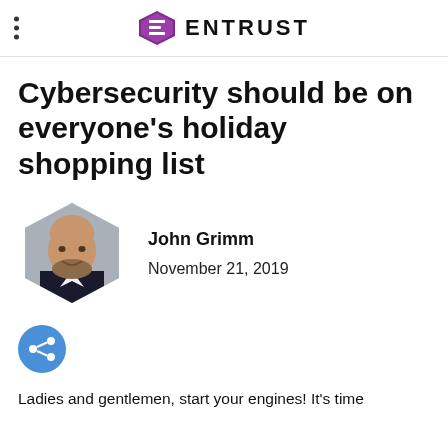ENTRUST
Cybersecurity should be on everyone's holiday shopping list
John Grimm
November 21, 2019
[Figure (photo): Headshot of John Grimm in a hexagonal frame — bald man with beard wearing a dark blazer and white shirt, smiling.]
[Figure (other): Blue circular share button with a share icon (three connected dots).]
Ladies and gentlemen, start your engines! It's time